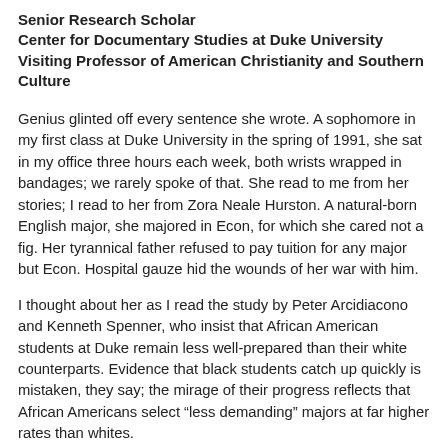Senior Research Scholar
Center for Documentary Studies at Duke University
Visiting Professor of American Christianity and Southern Culture
Genius glinted off every sentence she wrote. A sophomore in my first class at Duke University in the spring of 1991, she sat in my office three hours each week, both wrists wrapped in bandages; we rarely spoke of that. She read to me from her stories; I read to her from Zora Neale Hurston. A natural-born English major, she majored in Econ, for which she cared not a fig. Her tyrannical father refused to pay tuition for any major but Econ. Hospital gauze hid the wounds of her war with him.
I thought about her as I read the study by Peter Arcidiacono and Kenneth Spenner, who insist that African American students at Duke remain less well-prepared than their white counterparts. Evidence that black students catch up quickly is mistaken, they say; the mirage of their progress reflects that African Americans select “less demanding” majors at far higher rates than whites.